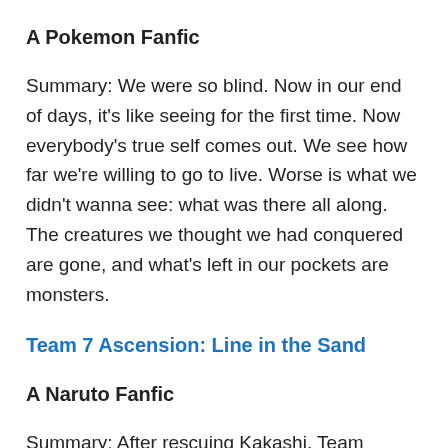A Pokemon Fanfic
Summary: We were so blind. Now in our end of days, it's like seeing for the first time. Now everybody's true self comes out. We see how far we're willing to go to live. Worse is what we didn't wanna see: what was there all along. The creatures we thought we had conquered are gone, and what's left in our pockets are monsters.
Team 7 Ascension: Line in the Sand
A Naruto Fanfic
Summary: After rescuing Kakashi, Team Seven thought things would be looking up. But life's never quite that simple, and lines in the sand don't hold for long when a squall comes along. The world rushing over the precipice of sanity, vigorously at that, doesn't make it any easier.